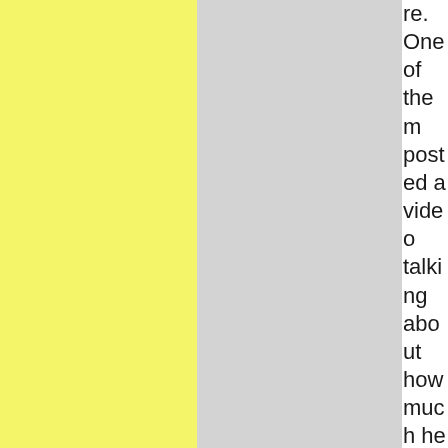re. One of them posted a video talking about how much he hoped his planes hit